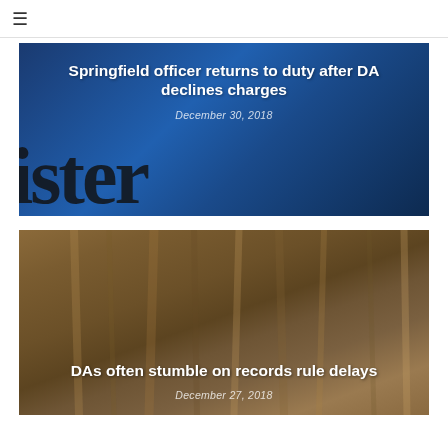≡
[Figure (photo): Blue background with large gothic/blackletter newspaper masthead letters visible, serving as background image for article card]
Springfield officer returns to duty after DA declines charges
December 30, 2018
[Figure (photo): Brown/tan colored rolled or folded cardboard tubes/papers stacked together, serving as background image for second article card]
DAs often stumble on records rule delays
December 27, 2018